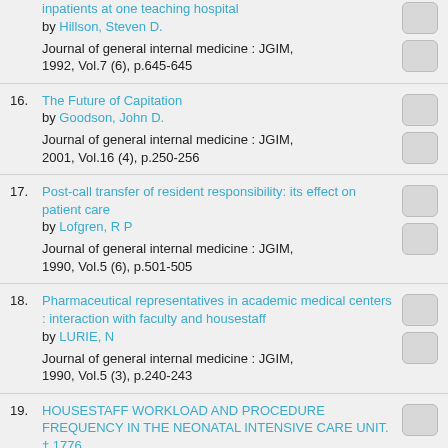inpatients at one teaching hospital by Hillson, Steven D. Journal of general internal medicine : JGIM, 1992, Vol.7 (6), p.645-645
16. The Future of Capitation by Goodson, John D. Journal of general internal medicine : JGIM, 2001, Vol.16 (4), p.250-256
17. Post-call transfer of resident responsibility: its effect on patient care by Lofgren, R P Journal of general internal medicine : JGIM, 1990, Vol.5 (6), p.501-505
18. Pharmaceutical representatives in academic medical centers : interaction with faculty and housestaff by LURIE, N Journal of general internal medicine : JGIM, 1990, Vol.5 (3), p.240-243
19. HOUSESTAFF WORKLOAD AND PROCEDURE FREQUENCY IN THE NEONATAL INTENSIVE CARE UNIT. † 1776